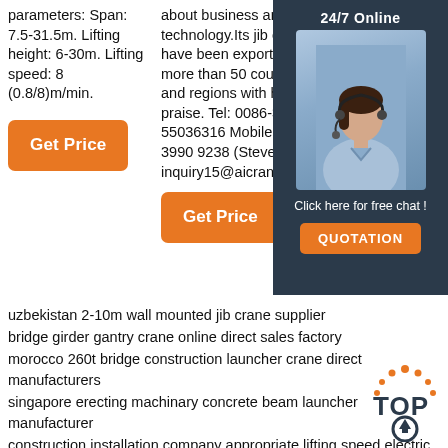parameters: Span: 7.5-31.5m. Lifting height: 6-30m. Lifting speed: 8 (0.8/8)m/min.
Get Price
about business and technology.Its jib cranes have been exported to more than 50 countries and regions with high praise. Tel: 0086-371-55036316 Mobile: +86 199 3990 9238 (Steven) Email: inquiry15@aicranes.com
Get Price
Handling, Service, Inspections, system design and installation in Manitoba and Saskatc...
Get P...
[Figure (photo): Chat widget showing a customer service agent with '24/7 Online' label, 'Click here for free chat!' text and 'QUOTATION' button]
uzbekistan 2-10m wall mounted jib crane supplier
bridge girder gantry crane online direct sales factory
morocco 260t bridge construction launcher crane direct manufacturers
singapore erecting machinary concrete beam launcher manufacturer
construction installation company appropriate lifting speed electric
[Figure (logo): TOP logo with upward arrow icon in orange and dark colors]